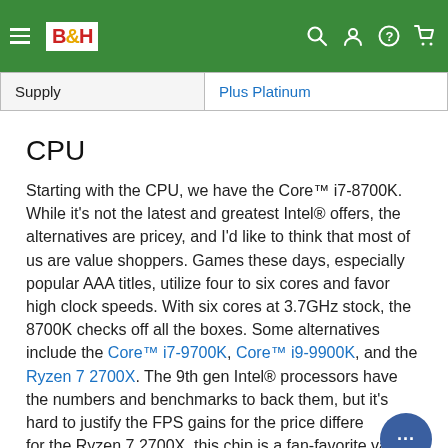B&H Photo Video
| Supply | Plus Platinum |
| --- | --- |
CPU
Starting with the CPU, we have the Core™ i7-8700K. While it's not the latest and greatest Intel® offers, the alternatives are pricey, and I'd like to think that most of us are value shoppers. Games these days, especially popular AAA titles, utilize four to six cores and favor high clock speeds. With six cores at 3.7GHz stock, the 8700K checks off all the boxes. Some alternatives include the Core™ i7-9700K, Core™ i9-9900K, and the Ryzen 7 2700X. The 9th gen Intel® processors have the numbers and benchmarks to back them, but it's hard to justify the FPS gains for the price difference; for the Ryzen 7 2700X, this chip is a fan-favorite value